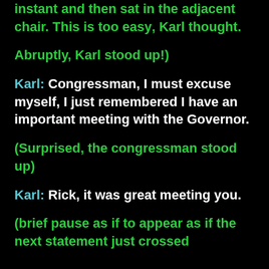instant and then sat in the adjacent chair. This is too easy, Karl thought.
Abruptly, Karl stood up!)
Karl: Congressman, I must excuse myself, I just remembered I have an important meeting with the Governor.
(Surprised, the congressman stood up)
Karl: Rick, it was great meeting you.
(brief pause as if to appear as if the next statement just crossed